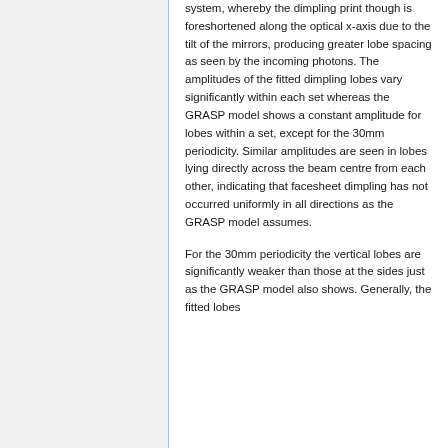system, whereby the dimpling print though is foreshortened along the optical x-axis due to the tilt of the mirrors, producing greater lobe spacing as seen by the incoming photons. The amplitudes of the fitted dimpling lobes vary significantly within each set whereas the GRASP model shows a constant amplitude for lobes within a set, except for the 30mm periodicity. Similar amplitudes are seen in lobes lying directly across the beam centre from each other, indicating that facesheet dimpling has not occurred uniformly in all directions as the GRASP model assumes.
For the 30mm periodicity the vertical lobes are significantly weaker than those at the sides just as the GRASP model also shows. Generally, the fitted lobes ...